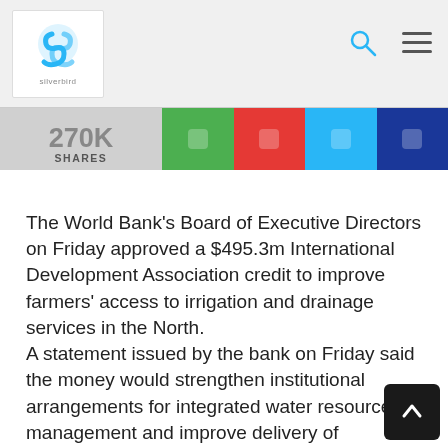silverbird
270K SHARES
The World Bank's Board of Executive Directors on Friday approved a $495.3m International Development Association credit to improve farmers' access to irrigation and drainage services in the North. A statement issued by the bank on Friday said the money would strengthen institutional arrangements for integrated water resources management and improve delivery of agricultural services in selected, large-scale public schemes in northern Nigeria. “The Transforming Irrigation Management in Nigeria project will improve existing irrigation on 27,000 hectares, irrigate an additional 23,000 hectares, and benefit more than 140,000 farmers while mobilising private sector investm “It marks a transformational effort to improve large-sca